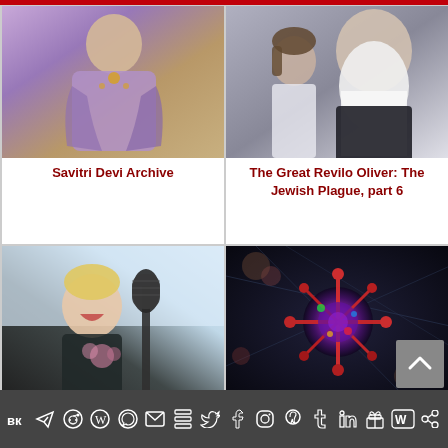[Figure (photo): Woman in purple/blue sari with jewelry, painting or photo. Card for Savitri Devi Archive.]
Savitri Devi Archive
[Figure (photo): Elderly bearded man with younger person beside him, black and white religious attire. Card for The Great Revilo Oliver: The Jewish Plague, part 6.]
The Great Revilo Oliver: The Jewish Plague, part 6
[Figure (photo): Laughing person at a microphone, vintage photo. Card for Daubing Swastikas: An Honored Jewish Tradition.]
Daubing Swastikas: An Honored Jewish Tradition
[Figure (photo): Colorized digital illustration of coronavirus particle against dark background. Card for Covid-21.]
Covid-21